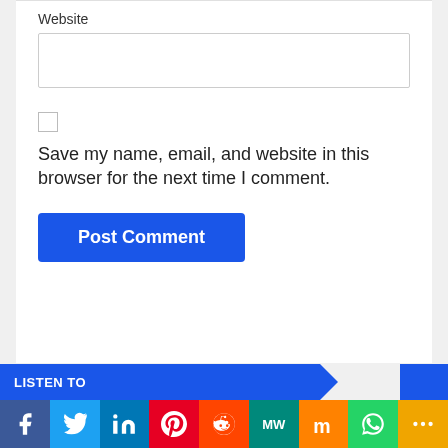Website
[Figure (screenshot): Empty text input field for website URL]
[Figure (screenshot): Unchecked checkbox]
Save my name, email, and website in this browser for the next time I comment.
[Figure (screenshot): Blue 'Post Comment' button]
LISTEN TO
[Figure (screenshot): Social sharing bar with Facebook, Twitter, LinkedIn, Pinterest, Reddit, MeWe, Mix, WhatsApp, and More buttons]